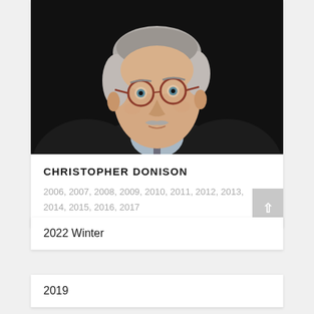[Figure (photo): Portrait photo of Christopher Donison, an older man with gray hair, round red-framed glasses, mustache, wearing a dark suit jacket and light blue shirt with a striped tie, photographed against a dark/black background.]
CHRISTOPHER DONISON
2006, 2007, 2008, 2009, 2010, 2011, 2012, 2013, 2014, 2015, 2016, 2017
2022 Winter
2019